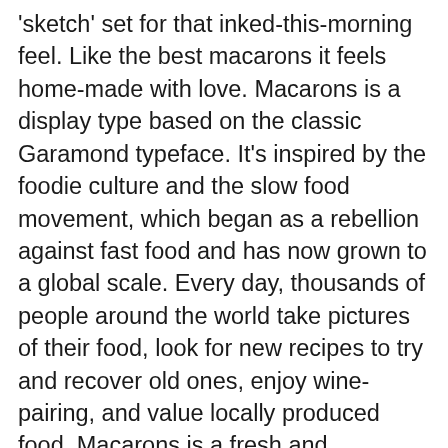'sketch' set for that inked-this-morning feel. Like the best macarons it feels home-made with love. Macarons is a display type based on the classic Garamond typeface. It's inspired by the foodie culture and the slow food movement, which began as a rebellion against fast food and has now grown to a global scale. Every day, thousands of people around the world take pictures of their food, look for new recipes to try and recover old ones, enjoy wine-pairing, and value locally produced food. Macarons is a fresh and spontaneous looking typeface that has been designed by Coto Mendoza, who also has developed a hand-made product line (Ride my Bike, Four Seasons, D.I.Y. Time, Dans le Cuisine and In a Jar). This font is not constructed out of modules: each character is drawn by hand. The Macarons font family consists of a monoline version, regular and bold weights, and a set of gestural catchwords, which reflects the use of ruling pen as a freestyle tool. Ornaments and also included. Macarons is ideal for cookbooks, menus, liquor bottle labels, food packaging, wedding invitations, greeting